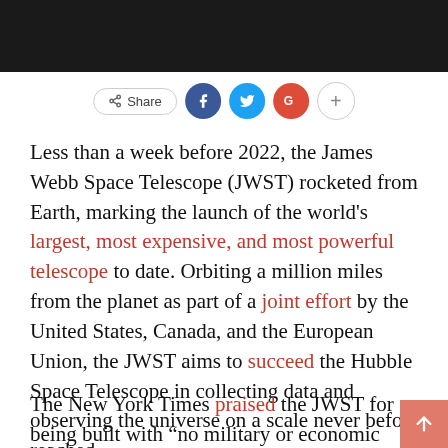[Figure (photo): Dark photograph strip at top of page, partial view of a person]
[Figure (infographic): Social share bar with Share button, Facebook, Twitter, Google+, and plus buttons]
Less than a week before 2022, the James Webb Space Telescope (JWST) rocketed from Earth, marking the launch of the world's largest, most expensive, and most powerful telescope to date. Orbiting a million miles from the planet as part of a joint effort by the United States, Canada, and the European Union, the JWST aims to succeed the Hubble Space Telescope in collecting data and observing the universe on a scale never before reached.
The New York Times praised the JWST for being built with “no military or economic advantage” and